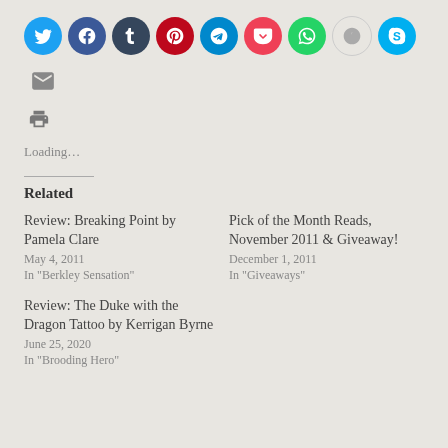[Figure (infographic): Row of social media share icon buttons: Twitter (blue), Facebook (dark blue), Tumblr (dark navy), Pinterest (red), Telegram (teal), Pocket (red), WhatsApp (green), Reddit (light grey), Skype (light blue), Email (envelope icon), and a printer icon below.]
Loading...
Related
Review: Breaking Point by Pamela Clare
May 4, 2011
In "Berkley Sensation"
Pick of the Month Reads, November 2011 & Giveaway!
December 1, 2011
In "Giveaways"
Review: The Duke with the Dragon Tattoo by Kerrigan Byrne
June 25, 2020
In "Brooding Hero"